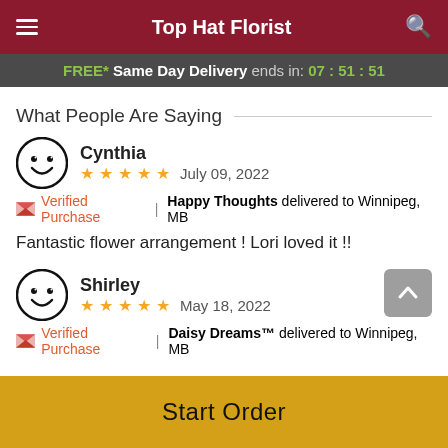Top Hat Florist
FREE* Same Day Delivery ends in: 07:51:51
What People Are Saying
Cynthia
★★★★★ July 09, 2022
🌸 Verified Purchase | Happy Thoughts delivered to Winnipeg, MB
Fantastic flower arrangement ! Lori loved it !!
Shirley
★★★★★ May 18, 2022
🌸 Verified Purchase | Daisy Dreams™ delivered to Winnipeg, MB
Start Order